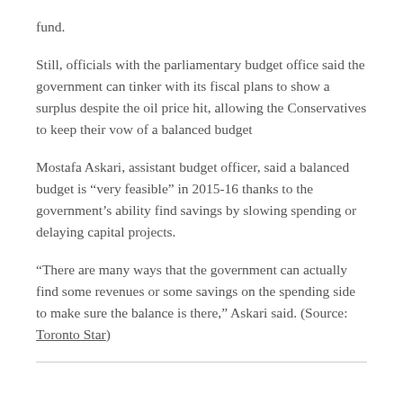fund.
Still, officials with the parliamentary budget office said the government can tinker with its fiscal plans to show a surplus despite the oil price hit, allowing the Conservatives to keep their vow of a balanced budget
Mostafa Askari, assistant budget officer, said a balanced budget is “very feasible” in 2015-16 thanks to the government’s ability find savings by slowing spending or delaying capital projects.
“There are many ways that the government can actually find some revenues or some savings on the spending side to make sure the balance is there,” Askari said. (Source: Toronto Star)